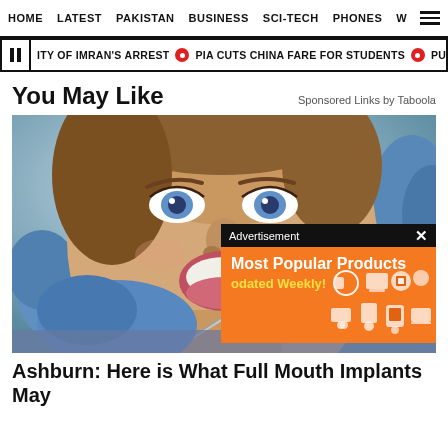HOME   LATEST   PAKISTAN   BUSINESS   SCI-TECH   PHONES   W
ITY OF IMRAN'S ARREST  •  PIA CUTS CHINA FARE FOR STUDENTS  •  PUNJAB MIN
You May Like
Sponsored Links by Taboola
[Figure (photo): A smiling young woman with blue eyes receiving dental treatment from a dentist wearing blue gloves, holding a dental instrument near her mouth. An advertisement overlay appears in the lower right showing 'Most Popular Products Updated Weekly!' on an orange background with shopping icons.]
Ashburn: Here is What Full Mouth Implants May